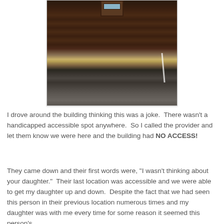[Figure (photo): Photograph of a brick building entrance with multiple brick steps leading up to a door, and a broken or deteriorated wooden ramp/plank at the bottom of the steps, with a parking area visible in the foreground. No accessible ramp is present.]
I drove around the building thinking this was a joke.  There wasn't a handicapped accessible spot anywhere.  So I called the provider and let them know we were here and the building had NO ACCESS!
They came down and their first words were, "I wasn't thinking about your daughter."  Their last location was accessible and we were able to get my daughter up and down.  Despite the fact that we had seen this person in their previous location numerous times and my daughter was with me every time for some reason it seemed this person's